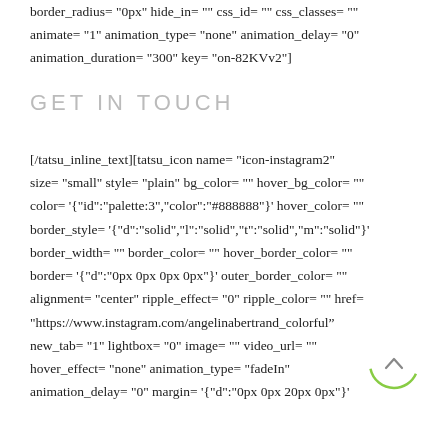border_radius= "0px" hide_in= "" css_id= "" css_classes= "" animate= "1" animation_type= "none" animation_delay= "0" animation_duration= "300" key= "on-82KVv2"]
GET IN TOUCH
[/tatsu_inline_text][tatsu_icon name= "icon-instagram2" size= "small" style= "plain" bg_color= "" hover_bg_color= "" color= '{"id":"palette:3","color":"#888888"}' hover_color= "" border_style= '{"d":"solid","l":"solid","t":"solid","m":"solid"}' border_width= "" border_color= "" hover_border_color= "" border= '{"d":"0px 0px 0px 0px"}' outer_border_color= "" alignment= "center" ripple_effect= "0" ripple_color= "" href= "https://www.instagram.com/angelinabertrand_colorful&#8221; new_tab= "1" lightbox= "0" image= "" video_url= "" hover_effect= "none" animation_type= "fadeIn" animation_delay= "0" margin= '{"d":"0px 0px 20px 0px"}'